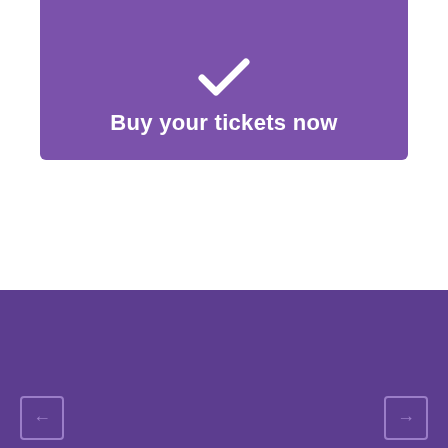[Figure (illustration): Purple banner with checkmark icon at top]
Buy your tickets now
Our Sponsors